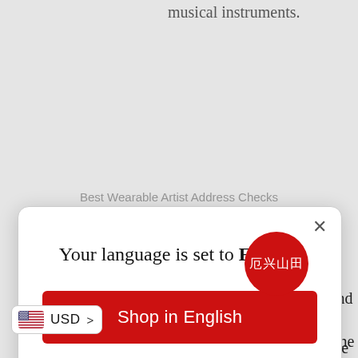musical instruments.
Best Wearable Artist Address Checks
[Figure (screenshot): Modal dialog overlay on a webpage. The modal has a white rounded-rectangle box with a close (×) button at top right. Title text reads: 'Your language is set to English'. Below is a large red button labeled 'Shop in English'. Below that is an underlined link 'Change language'. The background page shows partially visible text about churches and worship settings.]
environment in churches and worship settings which draws people closer to God and allows the move of
t so that people can know the saving grace of Jesus and experience